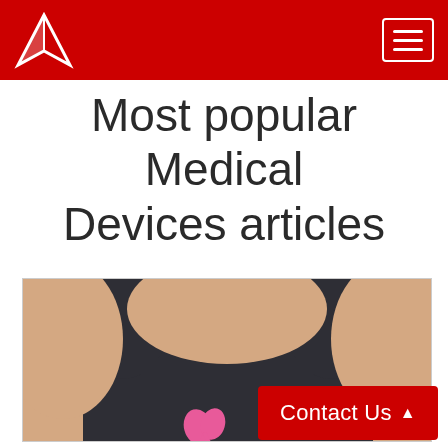Most popular Medical Devices articles
[Figure (photo): Close-up photo of a person wearing a dark athletic tank top with a pink breast cancer awareness ribbon logo, showing shoulders and chest area]
Contact Us ▲